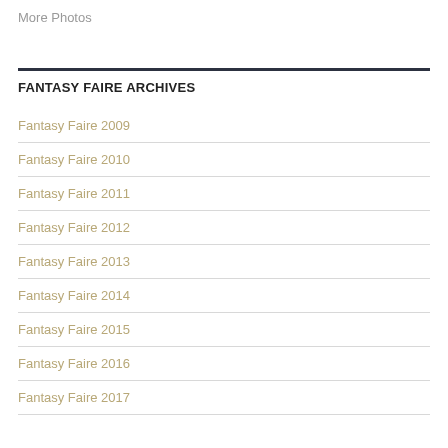More Photos
FANTASY FAIRE ARCHIVES
Fantasy Faire 2009
Fantasy Faire 2010
Fantasy Faire 2011
Fantasy Faire 2012
Fantasy Faire 2013
Fantasy Faire 2014
Fantasy Faire 2015
Fantasy Faire 2016
Fantasy Faire 2017